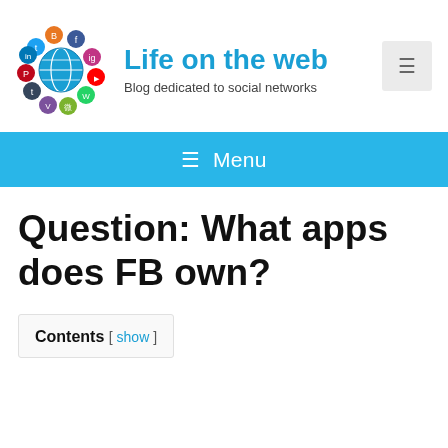[Figure (logo): Globe with social media app icons arranged in a circle around it (Twitter, Blogger, Facebook, Instagram, YouTube, Google+, LinkedIn, WhatsApp, WeChat, Viber, Tumblr, Pinterest)]
Life on the web
Blog dedicated to social networks
≡ Menu
Question: What apps does FB own?
Contents [ show ]